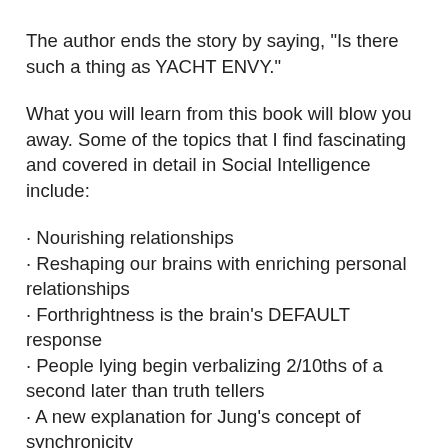The author ends the story by saying, "Is there such a thing as YACHT ENVY."
What you will learn from this book will blow you away. Some of the topics that I find fascinating and covered in detail in Social Intelligence include:
· Nourishing relationships
· Reshaping our brains with enriching personal relationships
· Forthrightness is the brain's DEFAULT response
· People lying begin verbalizing 2/10ths of a second later than truth tellers
· A new explanation for Jung's concept of synchronicity
I will leave you with this thought. You are probably familiar with MRI. The doctors use them medically to find tumors and so forth. There is a more complex machine called an fMRI which brain investigators are doing mind-boggling research with. As an example if you are wired up, and all of a sudden are expressing anger over something, a researcher can look at an MRI and see precisely what parts of the brain are